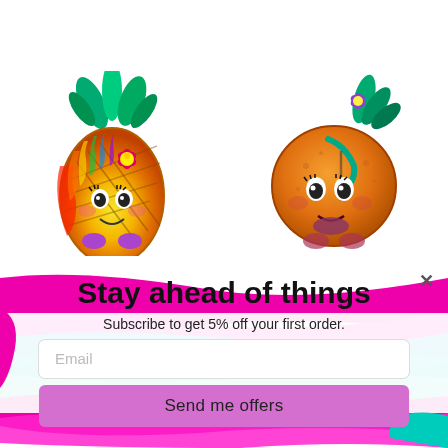[Figure (photo): Colorful Shopkins pineapple character figurine with rainbow colors, pink flower, and cute face on left side]
[Figure (photo): Orange Shopkins character figurine shaped like an orange with purple flower, teal leaves, and cute face on right side]
quick view
quick view
Stay ahead of things
Subscribe to get 5% off your first order.
Email
Send me offers